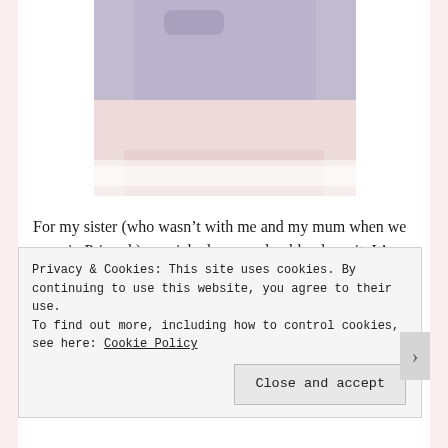[Figure (photo): Close-up photo of a person wearing denim shorts with lace trim, held at waist level, light purple/blue denim against a light background.]
For my sister (who wasn't with me and my mum when we were in Primark) we picked up an adorable playsuit. It's black with little pink flowers all over and has an elastic waistband. She loves how comfy it is to lounge about in.
[Figure (photo): Partial photo showing two images side by side: a person in dark sparkly top on the left, and green trees/outdoor scene on the right.]
Privacy & Cookies: This site uses cookies. By continuing to use this website, you agree to their use.
To find out more, including how to control cookies, see here: Cookie Policy
Close and accept